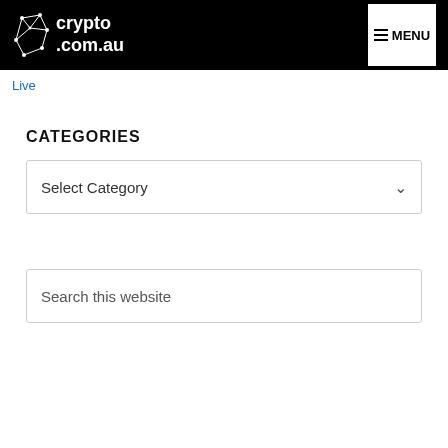crypto.com.au — MENU
Live
CATEGORIES
Select Category
Search this website